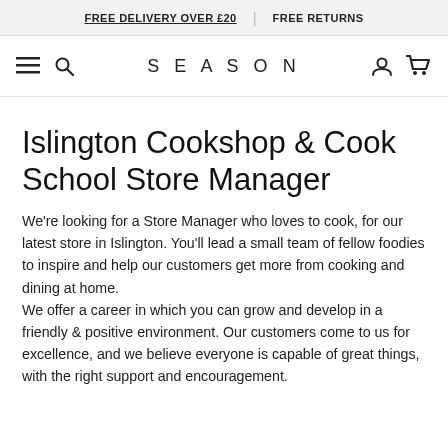FREE DELIVERY OVER £20 | FREE RETURNS
[Figure (screenshot): Navigation bar with hamburger menu, search icon, SEASON logo, account icon, and cart icon]
Islington Cookshop & Cook School Store Manager
We're looking for a Store Manager who loves to cook, for our latest store in Islington. You'll lead a small team of fellow foodies to inspire and help our customers get more from cooking and dining at home.
We offer a career in which you can grow and develop in a friendly & positive environment. Our customers come to us for excellence, and we believe everyone is capable of great things, with the right support and encouragement.